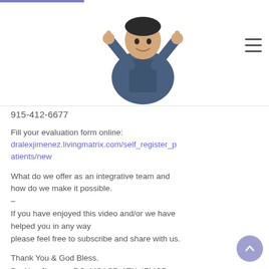[Figure (photo): Doctor in blue scrubs giving thumbs up gesture, positioned in the header navigation area]
915-412-6677
Fill your evaluation form online:
dralexjimenez.livingmatrix.com/self_register_patients/new
What do we offer as an integrative team and how do we make it possible.
–
If you have enjoyed this video and/or we have helped you in any way
please feel free to subscribe and share with us.
Thank You & God Bless.
Dr. Alex Jimenez DC, MSACP, ATN, IFMCP.
CIFM, CCST